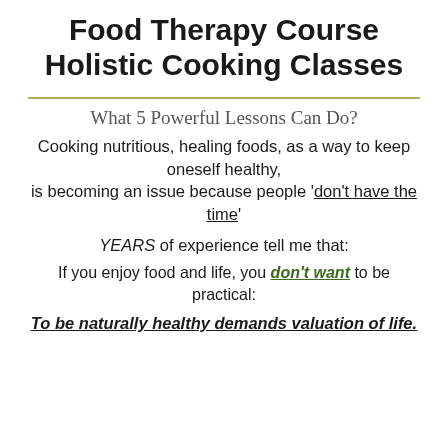Food Therapy Course Holistic Cooking Classes
What 5 Powerful Lessons Can Do?
Cooking nutritious, healing foods, as a way to keep oneself healthy, is becoming an issue because people 'don't have the time'
YEARS of experience tell me that:
If you enjoy food and life, you don't want to be practical:
To be naturally healthy demands valuation of life.